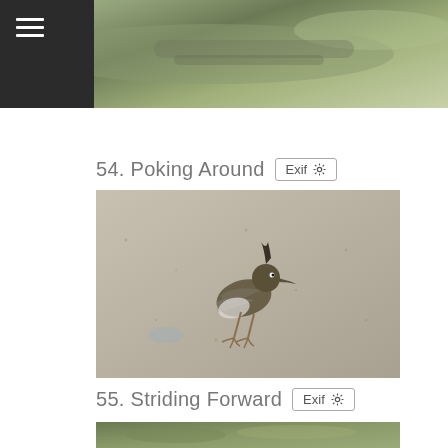☰
[Figure (photo): Partial photo at top of page, appears to show a mossy log or natural outdoor scene]
54. Poking Around
[Figure (photo): Photo of a lapwing or plover bird walking on sandy/muddy ground, foraging]
55. Striding Forward
[Figure (photo): Partial photo at bottom of page, appears to show a bird in green vegetation]